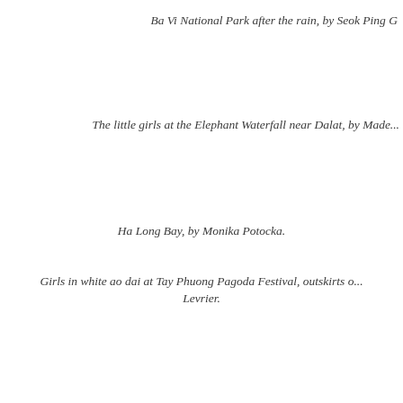Ba Vi National Park after the rain, by Seok Ping G...
The little girls at the Elephant Waterfall near Dalat, by Made...
Girls in white ao dai at Tay Phuong Pagoda Festival, outskirts of... Levrier.
Ha Long Bay, by Monika Potocka.
Hanoi Old Quarter, by Shawn Hughes.
Sreet food in Hoi An, by Thomas Freeman.
Balloon seller on the streets of Hanoi, by Patrick Le...